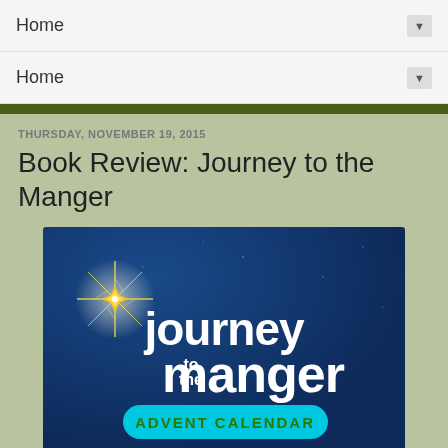Home ▼
Home ▼
THURSDAY, NOVEMBER 19, 2015
Book Review: Journey to the Manger
[Figure (illustration): Book cover of 'Journey to the Manger Advent Calendar' — dark blue background with a bright star in the upper left, white hand-lettered text reading 'journey to the manger', and a cyan banner reading 'ADVENT CALENDAR']